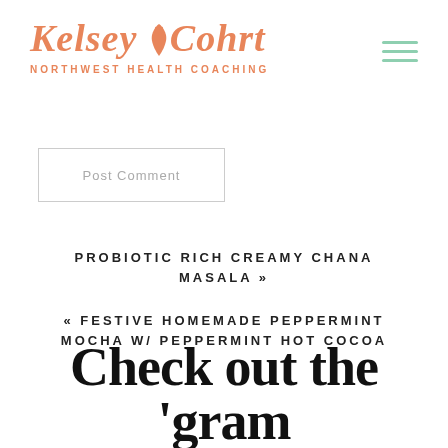[Figure (logo): Kelsey Cohrt Northwest Health Coaching logo with orange/salmon italic serif text and a leaf icon, plus a teal hamburger menu icon on the right]
Post Comment
PROBIOTIC RICH CREAMY CHANA MASALA »
« FESTIVE HOMEMADE PEPPERMINT MOCHA W/ PEPPERMINT HOT COCOA
Check out the 'gram